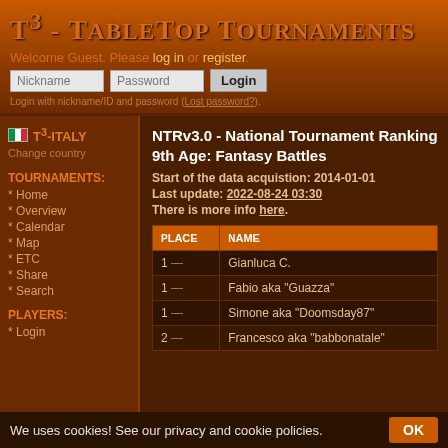T³ - TableTop Tournaments
Welcome Guest. Please log in or register.
Login with nickname/ID and password (Lost password?).
T³-ITALY
Change country
TOURNAMENTS:
* Home
* Overview
* Calendar
* Map
* ETC
* Share
* Search
PLAYERS:
* Login
NTRv3.0 - National Tournament Ranking 9th Age: Fantasy Battles
Start of the data acquistion: 2014-01-01
Last update: 2022-08-24 03:30
There is more info here.
| Place | Name |
| --- | --- |
| 1 — | Gianluca C. |
| 1 — | Fabio aka "Guazza" |
| 1 — | Simone aka "Doomsday87" |
| 2 — | Francesco aka "babbonatale" |
We uses cookies! See our privacy and cookie policies.